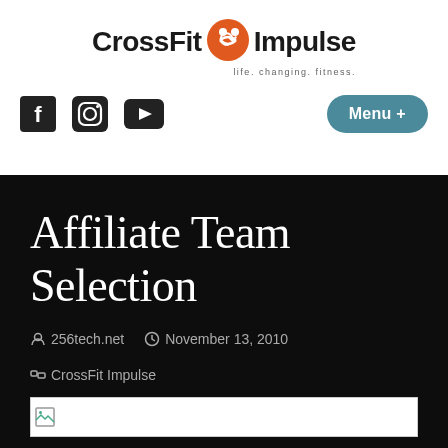[Figure (logo): CrossFit Impulse logo with orange figure icon and tagline 'life. changing. fitness.']
[Figure (other): Social media icons: Facebook, Instagram, YouTube, and a teal Menu + button]
Affiliate Team Selection
256tech.net   November 13, 2010   CrossFit Impulse
[Figure (photo): Broken image placeholder at the bottom of the dark section]